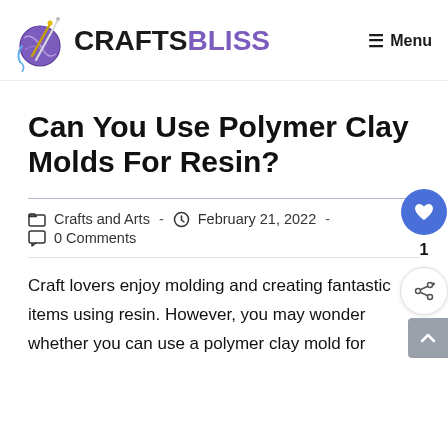CRAFTSBLISS Menu
Can You Use Polymer Clay Molds For Resin?
Crafts and Arts  ·  February 21, 2022  ·  0 Comments
Craft lovers enjoy molding and creating fantastic items using resin. However, you may wonder whether you can use a polymer clay mold for